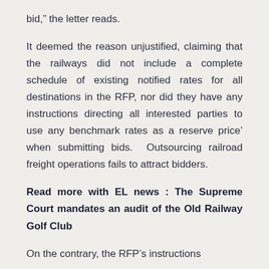bid," the letter reads.
It deemed the reason unjustified, claiming that the railways did not include a complete schedule of existing notified rates for all destinations in the RFP, nor did they have any instructions directing all interested parties to use any benchmark rates as a reserve price’ when submitting bids. Outsourcing railroad freight operations fails to attract bidders.
Read more with EL news : The Supreme Court mandates an audit of the Old Railway Golf Club
On the contrary, the RFP’s instructions